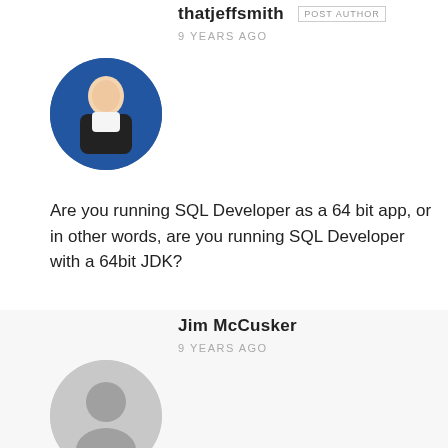thatjeffsmith POST AUTHOR
9 YEARS AGO
[Figure (photo): Circular avatar photo of thatjeffsmith, man in dark jacket on a blue background]
Are you running SQL Developer as a 64 bit app, or in other words, are you running SQL Developer with a 64bit JDK?
Jim McCusker
9 YEARS AGO
[Figure (photo): Default grey circular avatar icon for Jim McCusker]